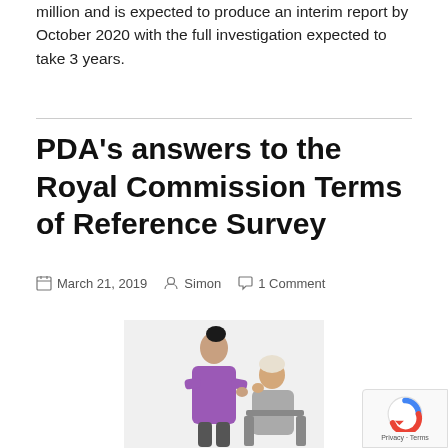million and is expected to produce an interim report by October 2020 with the full investigation expected to take 3 years.
PDA's answers to the Royal Commission Terms of Reference Survey
March 21, 2019   Simon   1 Comment
[Figure (photo): A nurse in purple scrubs assisting an elderly woman seated in a chair]